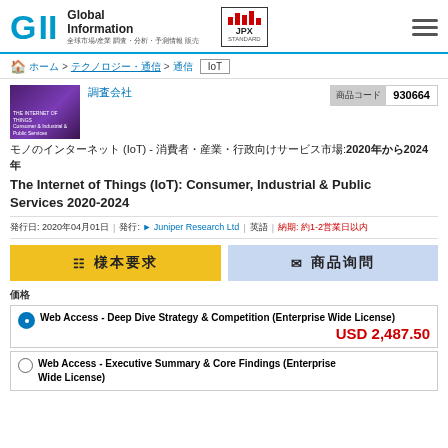GII Global Information | JPX STANDARD
ホーム > テクノロジー・通信 > 通信 IoT
[Figure (photo): Book cover for The Internet of Things (IoT): Consumer, Industrial & Public Services 2020-2024, purple gradient cover]
調査会社
| 商品コード | 930664 |
| --- | --- |
モノのインターネット (IoT) - 消費者・産業・行政向けサービス市場:2020年から2024年
The Internet of Things (IoT): Consumer, Industrial & Public Services 2020-2024
発行日: 2020年04月01日 | 発行: Juniper Research Ltd | 英語 | 納期: 約1-2営業日以内
様本要求
商品询問
価格
Web Access - Deep Dive Strategy & Competition (Enterprise Wide License)  USD 2,487.50
Web Access - Executive Summary & Core Findings (Enterprise Wide License)